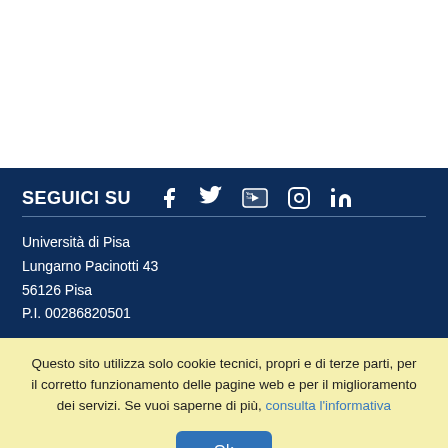SEGUICI SU
[Figure (illustration): Social media icons: Facebook, Twitter, YouTube, Instagram, LinkedIn — white icons on dark blue background]
Università di Pisa
Lungarno Pacinotti 43
56126 Pisa
P.I. 00286820501
Questo sito utilizza solo cookie tecnici, propri e di terze parti, per il corretto funzionamento delle pagine web e per il miglioramento dei servizi. Se vuoi saperne di più, consulta l'informativa